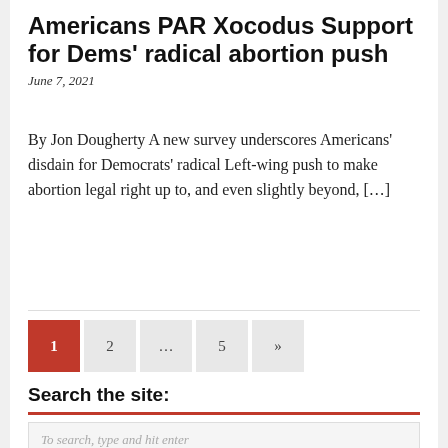Americans PAR Xocodus Support for Dems' radical abortion push
June 7, 2021
By Jon Dougherty A new survey underscores Americans' disdain for Democrats' radical Left-wing push to make abortion legal right up to, and even slightly beyond, […]
Pagination: 1 2 ... 5 »
Search the site:
To search, type and hit enter